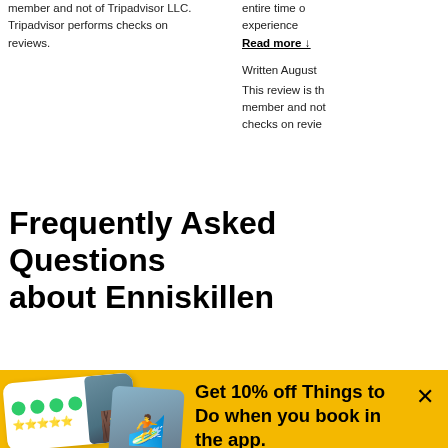member and not of Tripadvisor LLC. Tripadvisor performs checks on reviews.
entire time of experience
Read more ↓
Written August
This review is the opinion of a Tripadvisor member and not of Tripadvisor LLC. Tripadvisor performs checks on reviews.
Frequently Asked Questions about Enniskillen
[Figure (screenshot): Tripadvisor app promotional banner on yellow background with app screenshots showing activity cards and owl logo, use code APP10 for 10% off, Shop now button]
Get 10% off Things to Do when you book in the app.
Terms apply
Use code: APP10
Shop now